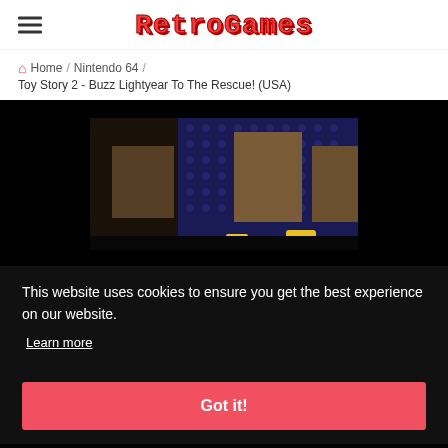RetroGames
Home / Nintendo 64 / Toy Story 2 - Buzz Lightyear To The Rescue! (USA)
[Figure (screenshot): Screenshot of Toy Story 2 - Buzz Lightyear To The Rescue! (USA) on Nintendo 64, showing a 3D game scene with dark walls and yellow character at bottom.]
This website uses cookies to ensure you get the best experience on our website.
Learn more
Got it!